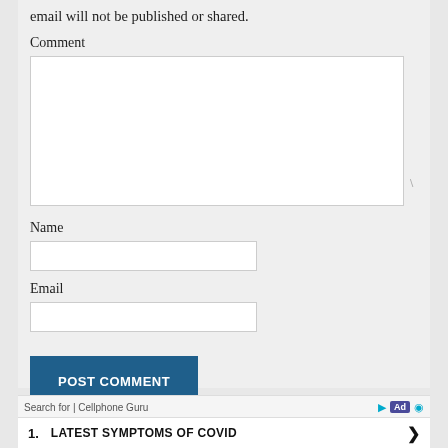email will not be published or shared.
Comment
[Figure (screenshot): Comment text area input box, large white rectangle with resize handle at bottom right]
Name
[Figure (screenshot): Name text input field, white rectangle]
Email
[Figure (screenshot): Email text input field, white rectangle]
[Figure (screenshot): POST COMMENT button, dark blue with white uppercase text]
Confirm you are NOT a spammer
Search for | Cellphone Guru
1.   LATEST SYMPTOMS OF COVID